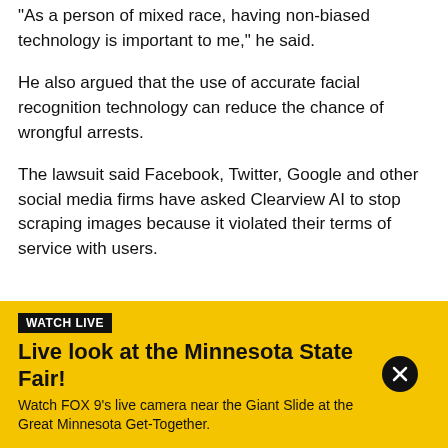"As a person of mixed race, having non-biased technology is important to me," he said.
He also argued that the use of accurate facial recognition technology can reduce the chance of wrongful arrests.
The lawsuit said Facebook, Twitter, Google and other social media firms have asked Clearview AI to stop scraping images because it violated their terms of service with users.
WATCH LIVE
Live look at the Minnesota State Fair!
Watch FOX 9's live camera near the Giant Slide at the Great Minnesota Get-Together.